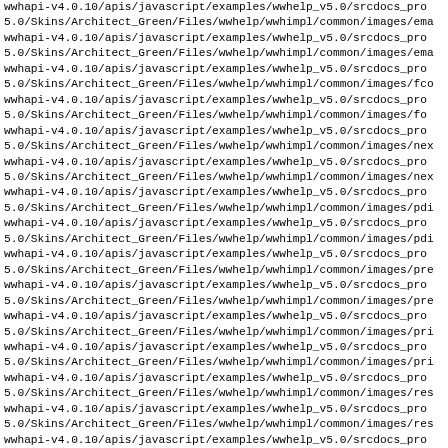wwhapi-v4.0.10/apis/javascript/examples/wwhelp_v5.0/srcdocs_pro
5.0/Skins/Architect_Green/Files/wwhelp/wwhimpl/common/images/ema
wwhapi-v4.0.10/apis/javascript/examples/wwhelp_v5.0/srcdocs_pro
5.0/Skins/Architect_Green/Files/wwhelp/wwhimpl/common/images/ema
wwhapi-v4.0.10/apis/javascript/examples/wwhelp_v5.0/srcdocs_pro
5.0/Skins/Architect_Green/Files/wwhelp/wwhimpl/common/images/fco
wwhapi-v4.0.10/apis/javascript/examples/wwhelp_v5.0/srcdocs_pro
5.0/Skins/Architect_Green/Files/wwhelp/wwhimpl/common/images/fo
wwhapi-v4.0.10/apis/javascript/examples/wwhelp_v5.0/srcdocs_pro
5.0/Skins/Architect_Green/Files/wwhelp/wwhimpl/common/images/nex
wwhapi-v4.0.10/apis/javascript/examples/wwhelp_v5.0/srcdocs_pro
5.0/Skins/Architect_Green/Files/wwhelp/wwhimpl/common/images/nex
wwhapi-v4.0.10/apis/javascript/examples/wwhelp_v5.0/srcdocs_pro
5.0/Skins/Architect_Green/Files/wwhelp/wwhimpl/common/images/pdi
wwhapi-v4.0.10/apis/javascript/examples/wwhelp_v5.0/srcdocs_pro
5.0/Skins/Architect_Green/Files/wwhelp/wwhimpl/common/images/pdi
wwhapi-v4.0.10/apis/javascript/examples/wwhelp_v5.0/srcdocs_pro
5.0/Skins/Architect_Green/Files/wwhelp/wwhimpl/common/images/pre
wwhapi-v4.0.10/apis/javascript/examples/wwhelp_v5.0/srcdocs_pro
5.0/Skins/Architect_Green/Files/wwhelp/wwhimpl/common/images/pre
wwhapi-v4.0.10/apis/javascript/examples/wwhelp_v5.0/srcdocs_pro
5.0/Skins/Architect_Green/Files/wwhelp/wwhimpl/common/images/pri
wwhapi-v4.0.10/apis/javascript/examples/wwhelp_v5.0/srcdocs_pro
5.0/Skins/Architect_Green/Files/wwhelp/wwhimpl/common/images/pri
wwhapi-v4.0.10/apis/javascript/examples/wwhelp_v5.0/srcdocs_pro
5.0/Skins/Architect_Green/Files/wwhelp/wwhimpl/common/images/res
wwhapi-v4.0.10/apis/javascript/examples/wwhelp_v5.0/srcdocs_pro
5.0/Skins/Architect_Green/Files/wwhelp/wwhimpl/common/images/res
wwhapi-v4.0.10/apis/javascript/examples/wwhelp_v5.0/srcdocs_pro
5.0/Skins/Architect_Green/Files/wwhelp/wwhimpl/common/images/res
wwhapi-v4.0.10/apis/javascript/examples/wwhelp_v5.0/srcdocs_pro
5.0/Skins/Architect_Green/Files/wwhelp/wwhimpl/common/images/sho
wwhapi-v4.0.10/apis/javascript/examples/wwhelp_v5.0/srcdocs_pro
5.0/Skins/Architect_Green/Files/wwhelp/wwhimpl/common/images/spo
wwhapi-v4.0.10/apis/javascript/examples/wwhelp_v5.0/srcdocs_pro
5.0/Skins/Architect_Green/Files/wwhelp/wwhimpl/common/images/spo
wwhapi-v4.0.10/apis/javascript/examples/wwhelp_v5.0/srcdocs_pro
5.0/Skins/Architect_Green/Files/wwhelp/wwhimpl/common/images/spi